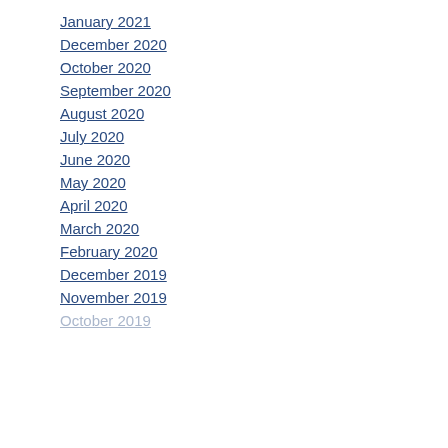January 2021
December 2020
October 2020
September 2020
August 2020
July 2020
June 2020
May 2020
April 2020
March 2020
February 2020
December 2019
November 2019
October 2019